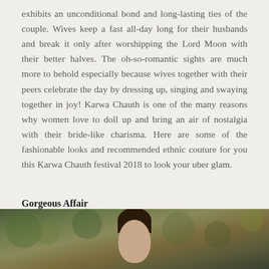exhibits an unconditional bond and long-lasting ties of the couple. Wives keep a fast all-day long for their husbands and break it only after worshipping the Lord Moon with their better halves. The oh-so-romantic sights are much more to behold especially because wives together with their peers celebrate the day by dressing up, singing and swaying together in joy! Karwa Chauth is one of the many reasons why women love to doll up and bring an air of nostalgia with their bride-like charisma. Here are some of the fashionable looks and recommended ethnic couture for you this Karwa Chauth festival 2018 to look your uber glam.
Gorgeous Affair
[Figure (photo): A woman with dark hair in an updo with a flower accent, photographed outdoors with a blurred green and gold bokeh background.]